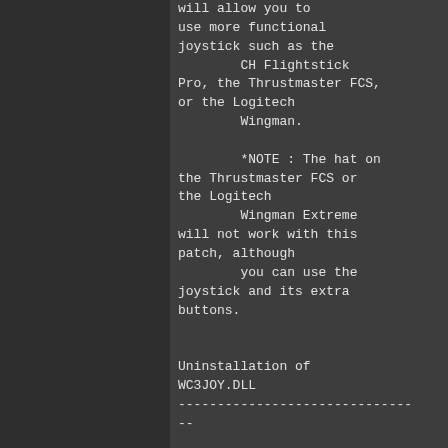will allow you to use more functional joystick such as the
        CH Flightstick Pro, the Thrustmaster FCS, or the Logitech
        Wingman.

        *NOTE : The hat on the Thrustmaster FCS or the Logitech
        Wingman Extreme will not work with this patch, although
        you can use the joystick and its extra buttons.


Uninstallation of WC3JOY.DLL
------------------------------
--

   To remove this patch,